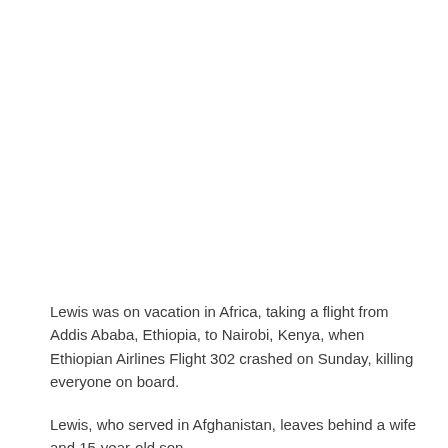Lewis was on vacation in Africa, taking a flight from Addis Ababa, Ethiopia, to Nairobi, Kenya, when Ethiopian Airlines Flight 302 crashed on Sunday, killing everyone on board.
Lewis, who served in Afghanistan, leaves behind a wife and 15-year-old son.